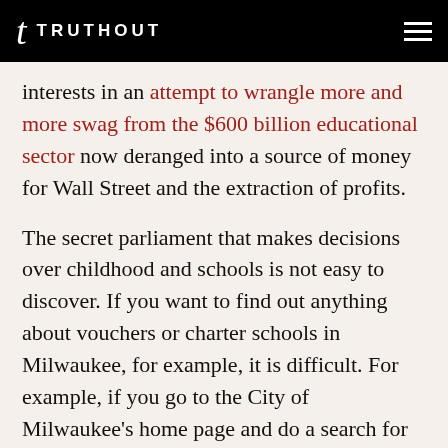TRUTHOUT
interests in an attempt to wrangle more and more swag from the $600 billion educational sector now deranged into a source of money for Wall Street and the extraction of profits.
The secret parliament that makes decisions over childhood and schools is not easy to discover. If you want to find out anything about vouchers or charter schools in Milwaukee, for example, it is difficult. For example, if you go to the City of Milwaukee’s home page and do a search for “charter school,” you’ll get a phone number to